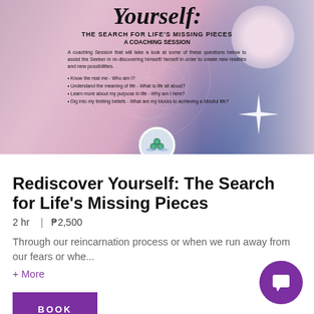[Figure (photo): Promotional banner for a coaching session titled 'Rediscover Yourself: The Search for Life's Missing Pieces'. Dark blue border, pink/purple gradient background with geometric flower-of-life circle overlay, child figure on right side, sparkle graphic, coaching organization logo at bottom center. Text overlay includes session title in italic serif font, subtitles, description paragraph, and bullet points.]
Rediscover Yourself: The Search for Life's Missing Pieces
2 hr  |  ₱2,500
Through our reincarnation process or when we run away from our fears or whe...
+ More
BOOK